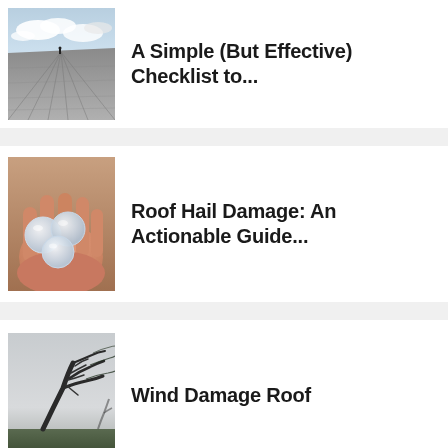[Figure (photo): Aerial perspective of a long flat roof or road with converging lines and a person standing in the distance under a cloudy sky]
A Simple (But Effective) Checklist to...
[Figure (photo): A hand holding several large hailstones against a brown background]
Roof Hail Damage: An Actionable Guide...
[Figure (photo): A tree bent sideways by strong wind in a foggy field]
Wind Damage Roof